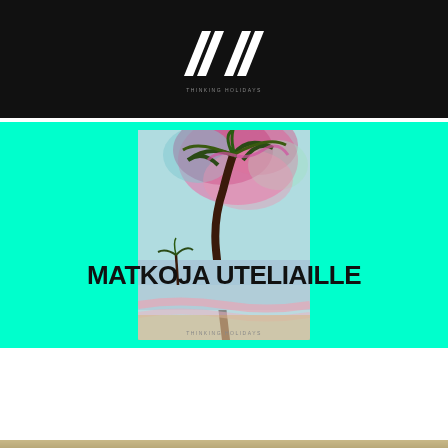[Figure (logo): White angular logo mark (two chevron-like arrows) on black background with 'THINKING HOLIDAYS' text below]
[Figure (illustration): Artistic illustration of a palm tree with psychedelic swirling colors (pink, teal, dark purple) on a cyan background, with 'MATKOJA UTELIAILLE' bold text overlay and 'THINKING HOLIDAYS' watermark]
[Figure (photo): Partial beach/pier photo strip at the very bottom of the page]